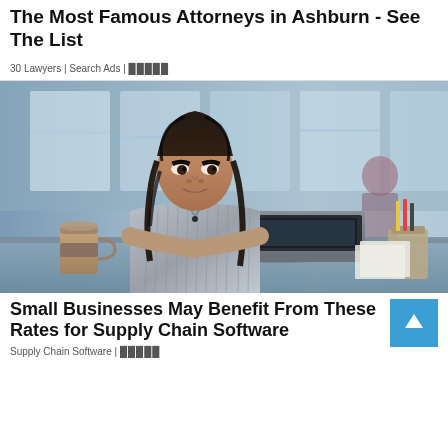The Most Famous Attorneys in Ashburn - See The List
30 Lawyers | Search Ads | █████
[Figure (photo): A woman with braided hair wearing a striped shirt, working on a laptop in a modern office environment. There is a coffee cup on the left and a pencil holder on the right. The background shows a blurred office space with large windows.]
Small Businesses May Benefit From These Rates for Supply Chain Software
Supply Chain Software | █████